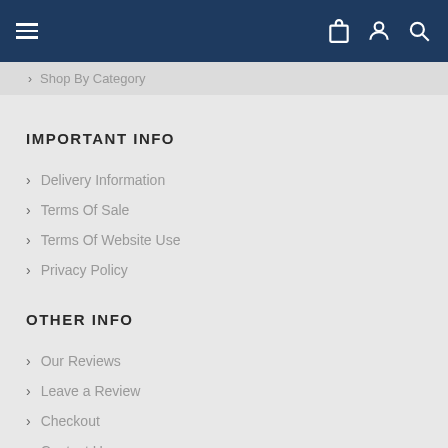Navigation bar with hamburger menu, cart, account, and search icons
Shop By Category
IMPORTANT INFO
Delivery Information
Terms Of Sale
Terms Of Website Use
Privacy Policy
OTHER INFO
Our Reviews
Leave a Review
Checkout
Contact Us